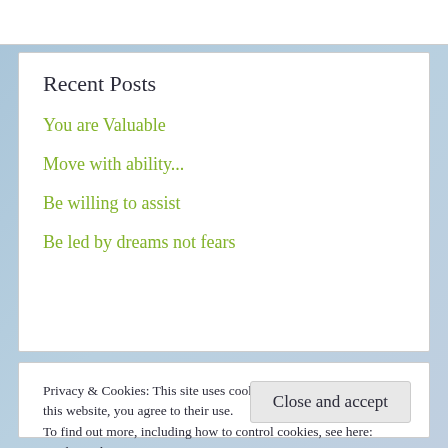Recent Posts
You are Valuable
Move with ability...
Be willing to assist
Be led by dreams not fears
Privacy & Cookies: This site uses cookies. By continuing to use this website, you agree to their use.
To find out more, including how to control cookies, see here:
Cookie Policy
Close and accept